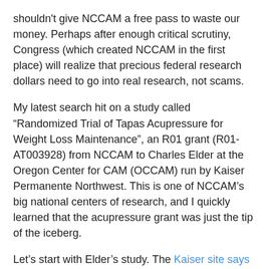shouldn't give NCCAM a free pass to waste our money. Perhaps after enough critical scrutiny, Congress (which created NCCAM in the first place) will realize that precious federal research dollars need to go into real research, not scams.
My latest search hit on a study called “Randomized Trial of Tapas Acupressure for Weight Loss Maintenance”, an R01 grant (R01-AT003928) from NCCAM to Charles Elder at the Oregon Center for CAM (OCCAM) run by Kaiser Permanente Northwest. This is one of NCCAM’s big national centers of research, and I quickly learned that the acupressure grant was just the tip of the iceberg.
Let’s start with Elder’s study. The Kaiser site says that Elder trained with them in “meditation and Ayurvedic medicine”. That’s reassuring. (See my earlier blog entry on Ayurveda.) This new project was funded based on a pilot study in which Elder “assess[ed] the feasibility and impact of two mind-body interventions from the Chinese Medicine tradition for weight loss maintenance in overweight and obese adults.” He explains that the method he wants to pursue further, the